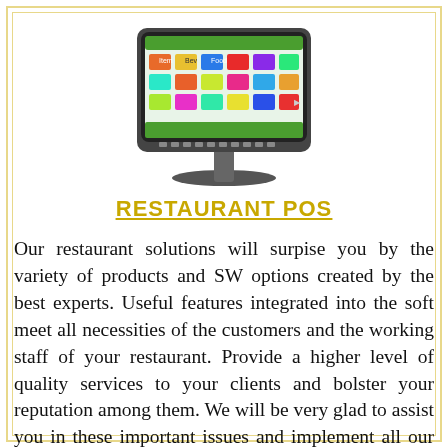[Figure (illustration): A touchscreen POS (point-of-sale) terminal with a colorful interface displayed on the screen, mounted on a stand, shown from a slight angle.]
RESTAURANT POS
Our restaurant solutions will surpise you by the variety of products and SW options created by the best experts. Useful features integrated into the soft meet all necessities of the customers and the working staff of your restaurant. Provide a higher level of quality services to your clients and bolster your reputation among them. We will be very glad to assist you in these important issues and implement all our creativity and knowledge to